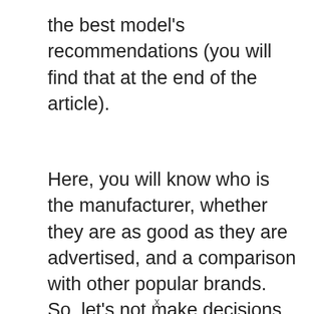the best model's recommendations (you will find that at the end of the article).
Here, you will know who is the manufacturer, whether they are as good as they are advertised, and a comparison with other popular brands. So, let's not make decisions based on gossips and
x